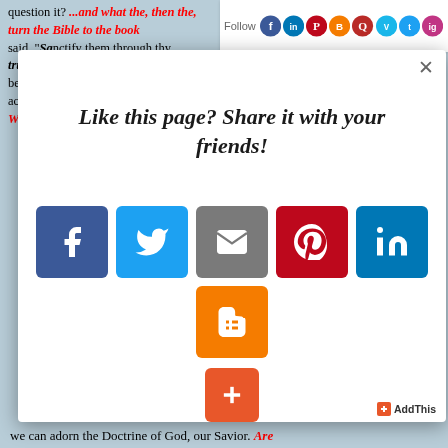question it? ...and what the, then the, turn the Bible to the book... said, "Sanctify them through thy truth" (John 17:17). If it appears not to be accurate, does the fault lie with the Word of God or
[Figure (screenshot): Social media follow bar with Follow label and icons for Facebook, LinkedIn, Pinterest, Blogger, Quora, Vimeo, Twitter, Instagram]
[Figure (screenshot): Modal popup with 'Like this page? Share it with your friends!' heading and social share buttons for Facebook, Twitter, Email, Pinterest, LinkedIn, Blogger, and a plus button. AddThis branding in bottom right.]
we can adorn the Doctrine of God, our Savior. Are